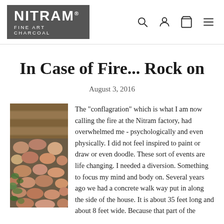NITRAM® FINE ART CHARCOAL
In Case of Fire... Rock on
August 3, 2016
[Figure (photo): Photo of a stone wall made of rounded river rocks set against wooden siding with green moss or plants visible]
The "conflagration" which is what I am now calling the fire at the Nitram factory, had overwhelmed me - psychologically and even physically. I did not feel inspired to paint or draw or even doodle. These sort of events are life changing. I needed a diversion. Something to focus my mind and body on. Several years ago we had a concrete walk way put in along the side of the house. It is about 35 feet long and about 8 feet wide. Because that part of the